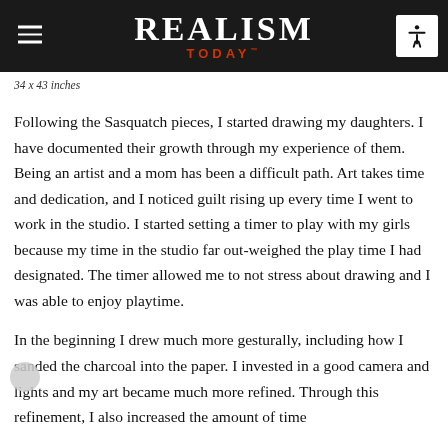REALISM TODAY
34 x 43 inches
Following the Sasquatch pieces, I started drawing my daughters. I have documented their growth through my experience of them. Being an artist and a mom has been a difficult path. Art takes time and dedication, and I noticed guilt rising up every time I went to work in the studio. I started setting a timer to play with my girls because my time in the studio far out-weighed the play time I had designated. The timer allowed me to not stress about drawing and I was able to enjoy playtime.
In the beginning I drew much more gesturally, including how I sanded the charcoal into the paper. I invested in a good camera and lights and my art became much more refined. Through this refinement, I also increased the amount of time